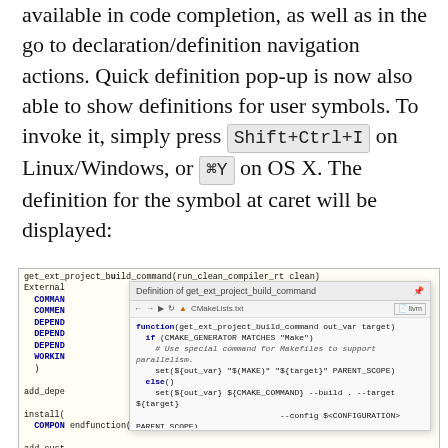available in code completion, as well as in the go to declaration/definition navigation actions. Quick definition pop-up is now also able to show definitions for user symbols. To invoke it, simply press Shift+Ctrl+I on Linux/Windows, or ⌘Y on OS X. The definition for the symbol at caret will be displayed:
[Figure (screenshot): Screenshot of a code editor showing a Quick Definition popup for get_ext_project_build_command function. The popup displays CMakeLists.txt source with function definition including cmake generator checks and set commands. Background shows CMake code with add_dependencies and install calls.]